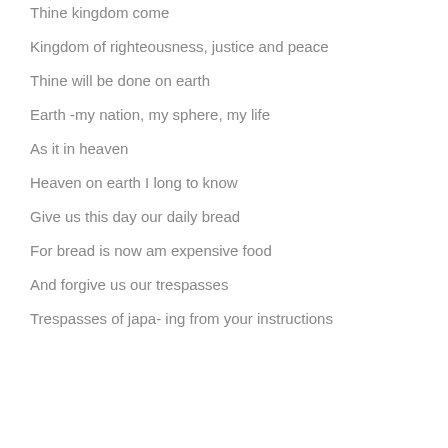Thine kingdom come
Kingdom of righteousness, justice and peace
Thine will be done on earth
Earth -my nation, my sphere, my life
As it in heaven
Heaven on earth I long to know
Give us this day our daily bread
For bread is now am expensive food
And forgive us our trespasses
Trespasses of japa- ing from your instructions